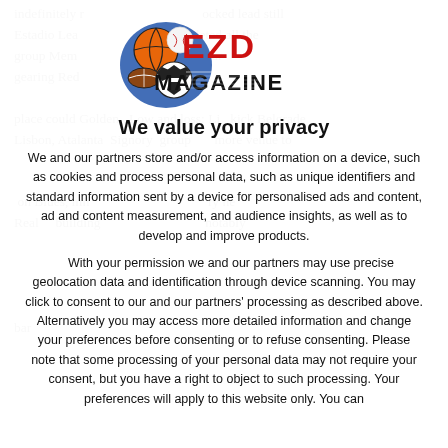indefinitely r... blocked lead still Estadio Lea... completed all the group Mem... gearing Red... place could Golden... Low and loss: Lisock Belgrade Lisbon, Atalanta... Signory... group... more venue to ... on Blues, mil... the... heal... Real... building... ul... notably... bar...
[Figure (logo): EZD Magazine logo with sports balls (basketball, baseball, football, soccer ball) and the text EZD in red/dark and MAGAZINE in bold black]
We value your privacy
We and our partners store and/or access information on a device, such as cookies and process personal data, such as unique identifiers and standard information sent by a device for personalised ads and content, ad and content measurement, and audience insights, as well as to develop and improve products.
With your permission we and our partners may use precise geolocation data and identification through device scanning. You may click to consent to our and our partners' processing as described above. Alternatively you may access more detailed information and change your preferences before consenting or to refuse consenting. Please note that some processing of your personal data may not require your consent, but you have a right to object to such processing. Your preferences will apply to this website only. You can